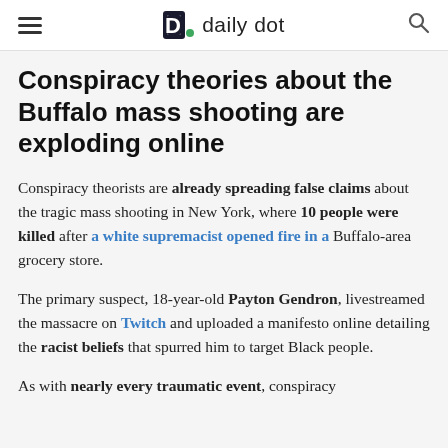daily dot
Conspiracy theories about the Buffalo mass shooting are exploding online
Conspiracy theorists are already spreading false claims about the tragic mass shooting in New York, where 10 people were killed after a white supremacist opened fire in a Buffalo-area grocery store.
The primary suspect, 18-year-old Payton Gendron, livestreamed the massacre on Twitch and uploaded a manifesto online detailing the racist beliefs that spurred him to target Black people.
As with nearly every traumatic event, conspiracy